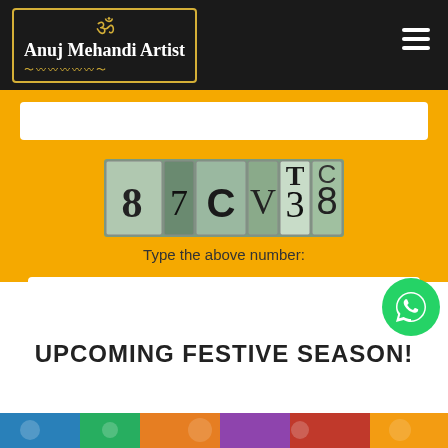Anuj Mehandi Artist
[Figure (screenshot): CAPTCHA image showing characters: 8 7 C V 3 T 8 C on a segmented tile background]
Type the above number:
UPCOMING FESTIVE SEASON!
[Figure (photo): Colorful festive mehandi/henna pattern image strip at the bottom of the page]